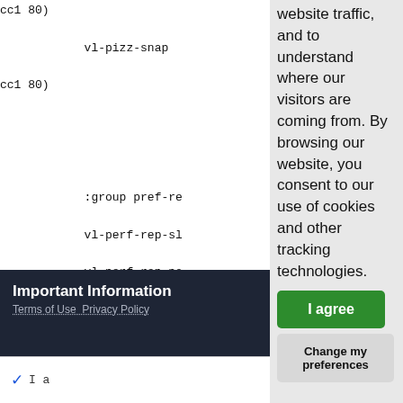cc1 80)
            vl-pizz-snap
cc1 80)

            :group pref-re
            vl-perf-rep-sl
            vl-perf-rep-po
            vl-perf-rep-st
            vl-perf-rep-sp
            vl-perf-rep-ha

            :group combi-c
            vl-rep-cre9-po
cc1 10)

            vl-rep-cre9-po
cc1 10)
website traffic, and to understand where our visitors are coming from. By browsing our website, you consent to our use of cookies and other tracking technologies.
I agree
Change my preferences
Important Information
Terms of Use Privacy Policy
I a